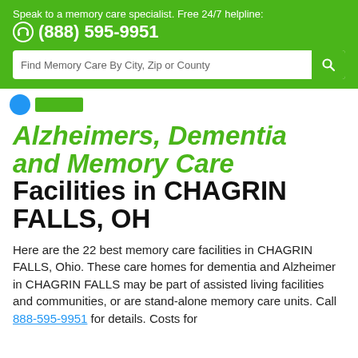Speak to a memory care specialist. Free 24/7 helpline: (888) 595-9951
Find Memory Care By City, Zip or County
Alzheimers, Dementia and Memory Care Facilities in CHAGRIN FALLS, OH
Here are the 22 best memory care facilities in CHAGRIN FALLS, Ohio. These care homes for dementia and Alzheimer in CHAGRIN FALLS may be part of assisted living facilities and communities, or are stand-alone memory care units. Call 888-595-9951 for details. Costs for